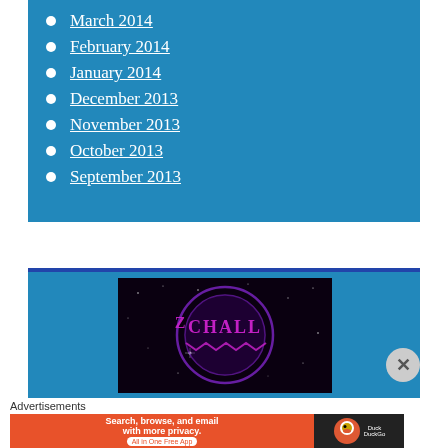March 2014
February 2014
January 2014
December 2013
November 2013
October 2013
September 2013
[Figure (illustration): Dark space background with purple circular logo showing partial text 'Z CHALL' — appears to be a quiz challenge badge/logo]
Advertisements
[Figure (illustration): DuckDuckGo advertisement banner: orange background with text 'Search, browse, and email with more privacy. All in One Free App' alongside DuckDuckGo logo on dark background]